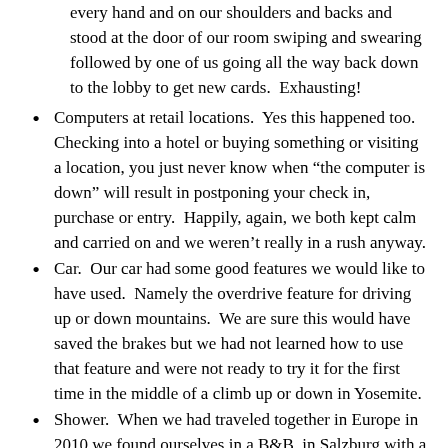every hand and on our shoulders and backs and stood at the door of our room swiping and swearing followed by one of us going all the way back down to the lobby to get new cards.  Exhausting!
Computers at retail locations.  Yes this happened too.  Checking into a hotel or buying something or visiting a location, you just never know when “the computer is down” will result in postponing your check in, purchase or entry.  Happily, again, we both kept calm and carried on and we weren’t really in a rush anyway.
Car.  Our car had some good features we would like to have used.  Namely the overdrive feature for driving up or down mountains.  We are sure this would have saved the brakes but we had not learned how to use that feature and were not ready to try it for the first time in the middle of a climb up or down in Yosemite.
Shower.  When we had traveled together in Europe in 2010 we found ourselves in a B&B  in Salzburg with a confounding shower arrangement.  Yes we had to call